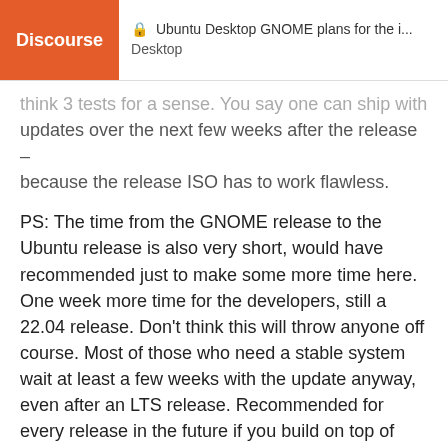Discourse | Ubuntu Desktop GNOME plans for the i... Desktop
think 3 tests for a sense. You say one can ship with updates over the next few weeks after the release – because the release ISO has to work flawless.
PS: The time from the GNOME release to the Ubuntu release is also very short, would have recommended just to make some more time here. One week more time for the developers, still a 22.04 release. Don't think this will throw anyone off course. Most of those who need a stable system wait at least a few weeks with the update anyway, even after an LTS release. Recommended for every release in the future if you build on top of GNOME. IMHO of course 🙂
Thanks for the great work!
3 ♡ 🔗
jyaku  17/31